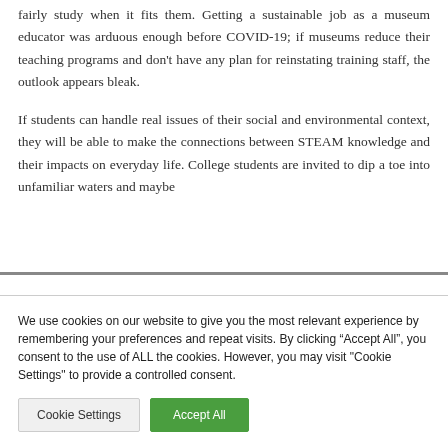fairly study when it fits them. Getting a sustainable job as a museum educator was arduous enough before COVID-19; if museums reduce their teaching programs and don't have any plan for reinstating training staff, the outlook appears bleak.
If students can handle real issues of their social and environmental context, they will be able to make the connections between STEAM knowledge and their impacts on everyday life. College students are invited to dip a toe into unfamiliar waters and maybe
We use cookies on our website to give you the most relevant experience by remembering your preferences and repeat visits. By clicking "Accept All", you consent to the use of ALL the cookies. However, you may visit "Cookie Settings" to provide a controlled consent.